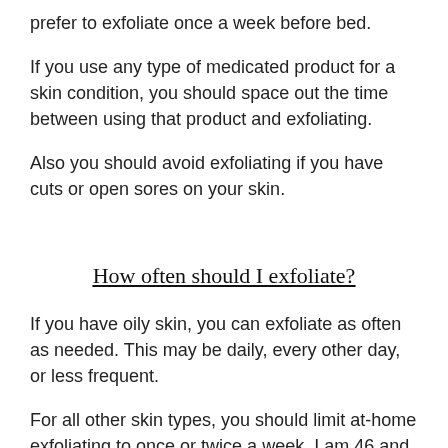prefer to exfoliate once a week before bed.
If you use any type of medicated product for a skin condition, you should space out the time between using that product and exfoliating.
Also you should avoid exfoliating if you have cuts or open sores on your skin.
How often should I exfoliate?
If you have oily skin, you can exfoliate as often as needed. This may be daily, every other day, or less frequent.
For all other skin types, you should limit at-home exfoliating to once or twice a week. I am 46 and once